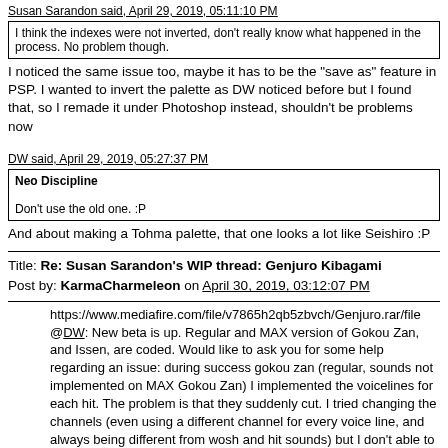Susan Sarandon said, April 29, 2019, 05:11:10 PM
I think the indexes were not inverted, don't really know what happened in the process. No problem though.
I noticed the same issue too, maybe it has to be the "save as" feature in PSP. I wanted to invert the palette as DW noticed before but I found that, so I remade it under Photoshop instead, shouldn't be problems now
DW said, April 29, 2019, 05:27:37 PM
Neo Discipline

Don't use the old one. :P
And about making a Tohma palette, that one looks a lot like Seishiro :P
Title: Re: Susan Sarandon's WIP thread: Genjuro Kibagami
Post by: KarmaCharmeleon on April 30, 2019, 03:12:07 PM
https://www.mediafire.com/file/v7865h2qb5zbvch/Genjuro.rar/file
@DW: New beta is up. Regular and MAX version of Gokou Zan, and Issen, are coded. Would like to ask you for some help regarding an issue: during success gokou zan (regular, sounds not implemented on MAX Gokou Zan) I implemented the voicelines for each hit. The problem is that they suddenly cut. I tried changing the channels (even using a different channel for every voice line, and always being different from wosh and hit sounds) but I don't able to fix this issue. If you could lend me a hand with this problem would be appreciated.